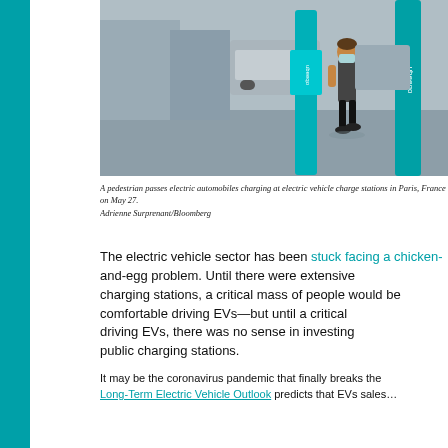[Figure (photo): A pedestrian walks past teal/turquoise Ubieeqo electric vehicle charging stations on a city street in Paris, France. The woman is wearing a mask, dark top, and black pants. Multiple cylindrical charging poles with the Ubieeqo logo are visible.]
A pedestrian passes electric automobiles charging at electric vehicle charge stations in Paris, France on May 27. Adrienne Surprenant/Bloomberg
The electric vehicle sector has been stuck facing a chicken-and-egg problem. Until there were extensive networks of public charging stations, a critical mass of people wouldn't be comfortable driving EVs—but until a critical mass of people were driving EVs, there was no sense in investing heavily in public charging stations.
It may be the coronavirus pandemic that finally breaks the cycle. A Long-Term Electric Vehicle Outlook predicts that EVs sales...